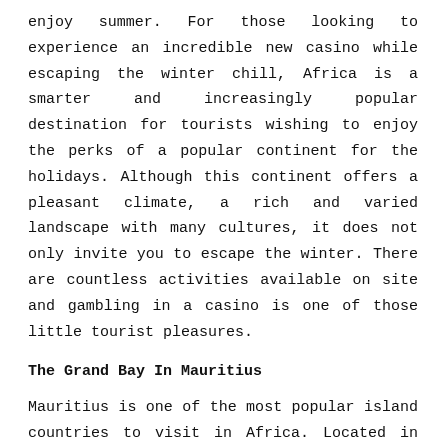enjoy summer. For those looking to experience an incredible new casino while escaping the winter chill, Africa is a smarter and increasingly popular destination for tourists wishing to enjoy the perks of a popular continent for the holidays. Although this continent offers a pleasant climate, a rich and varied landscape with many cultures, it does not only invite you to escape the winter. There are countless activities available on site and gambling in a casino is one of those little tourist pleasures.
The Grand Bay In Mauritius
Mauritius is one of the most popular island countries to visit in Africa. Located in the east of Madagascar, it enjoys a pleasant tropical climate and offers its visitors many wide sandy beaches. If you are a casino player and you go to this island, we can only advise you to go to the city of Grand Baie, renowned as the destination par excellence in Mauritius due to the presence of its